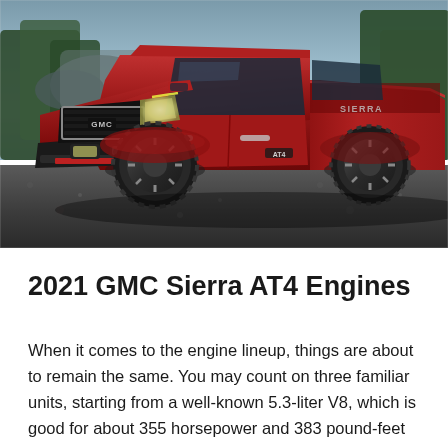[Figure (photo): A red GMC Sierra AT4 pickup truck parked on a rocky gravel surface with trees and water/rocks in the background. The truck is shown from a front three-quarter angle, prominently displaying the GMC grille badge.]
2021 GMC Sierra AT4 Engines
When it comes to the engine lineup, things are about to remain the same. You may count on three familiar units, starting from a well-known 5.3-liter V8, which is good for about 355 horsepower and 383 pound-feet of